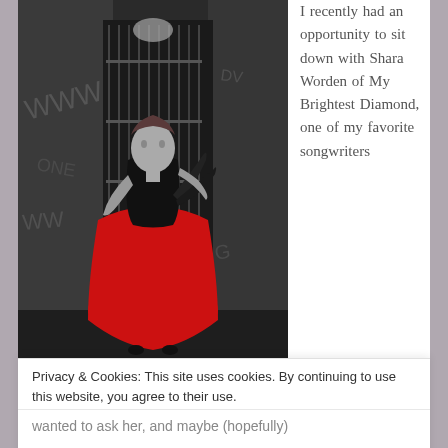[Figure (photo): Black and white photo of a woman in a red ball gown dress standing in an alley with graffiti-covered walls and a gated door behind her. She holds black feathers and wears a black corset top.]
I recently had an opportunity to sit down with Shara Worden of My Brightest Diamond, one of my favorite songwriters
Privacy & Cookies: This site uses cookies. By continuing to use this website, you agree to their use.
To find out more, including how to control cookies, see here: Cookie Policy
Close and accept
wanted to ask her, and maybe (hopefully)